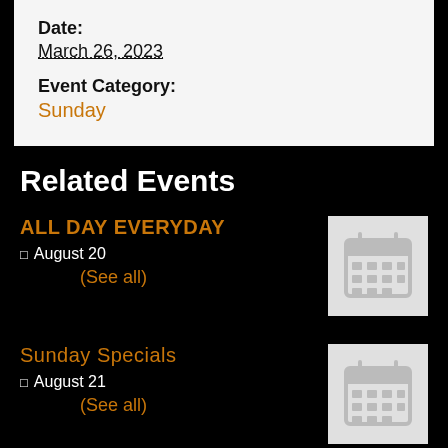Date:
March 26, 2023
Event Category:
Sunday
Related Events
ALL DAY EVERYDAY
August 20
(See all)
[Figure (illustration): Calendar icon placeholder image with grey background]
Sunday Specials
August 21
(See all)
[Figure (illustration): Calendar icon placeholder image with grey background]